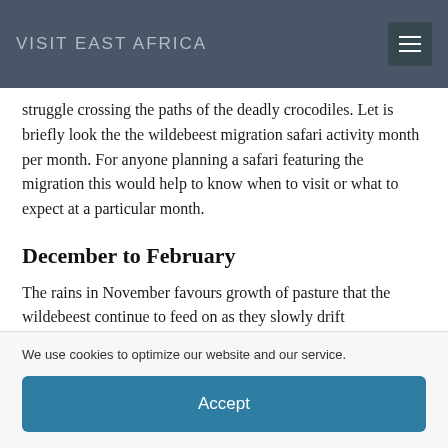VISIT EAST AFRICA
struggle crossing the paths of the deadly crocodiles. Let is briefly look the the wildebeest migration safari activity month per month. For anyone planning a safari featuring the migration this would help to know when to visit or what to expect at a particular month.
December to February
The rains in November favours growth of pasture that the wildebeest continue to feed on as they slowly drift
We use cookies to optimize our website and our service.
Accept